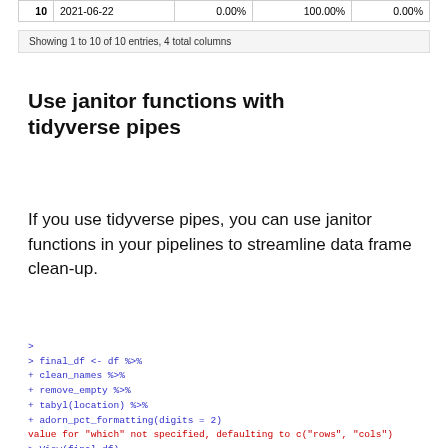| 10 | 2021-06-22 | 0.00% | 100.00% | 0.00% |
Showing 1 to 10 of 10 entries, 4 total columns
Use janitor functions with tidyverse pipes
If you use tidyverse pipes, you can use janitor functions in your pipelines to streamline data frame clean-up.
[Figure (screenshot): R console output showing code: > final_df <- df %>% + clean_names %>% + remove_empty %>% + tabyl(location) %>% + adorn_pct_formatting(digits = 2) value for 'which' not specified, defaulting to c('rows', 'cols') > View(final_df) > |]